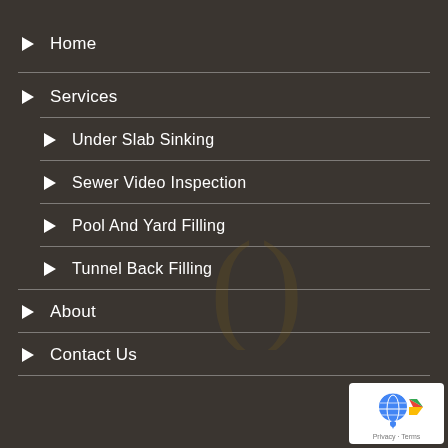Home
Services
Under Slab Sinking
Sewer Video Inspection
Pool And Yard Filling
Tunnel Back Filling
About
Contact Us
[Figure (logo): reCAPTCHA badge with Google logo and Privacy - Terms text]